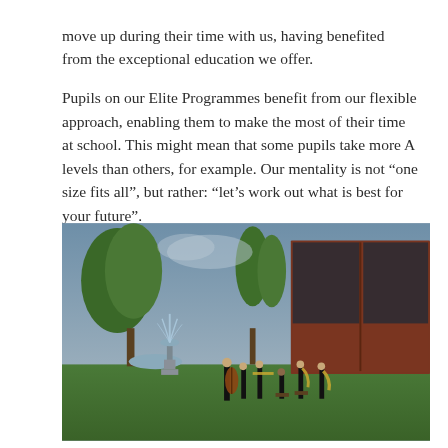move up during their time with us, having benefited from the exceptional education we offer.
Pupils on our Elite Programmes benefit from our flexible approach, enabling them to make the most of their time at school. This might mean that some pupils take more A levels than others, for example. Our mentality is not “one size fits all”, but rather: “let’s work out what is best for your future”.
[Figure (photo): Group of young musicians in black attire playing instruments (brass, strings, saxophone) outdoors on a lawn in front of a modern red-brick building with glass windows and a fountain with trees in the background.]